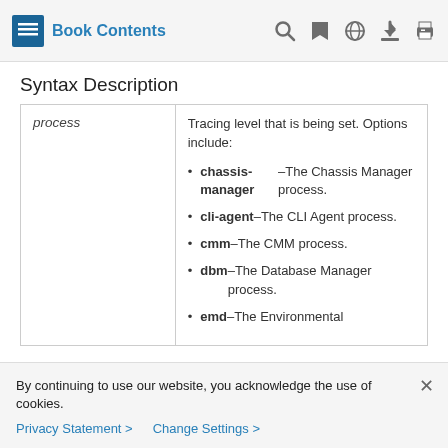Book Contents
Syntax Description
|  |  |
| --- | --- |
| process | Tracing level that is being set. Options include:
• chassis-manager –The Chassis Manager process.
• cli-agent –The CLI Agent process.
• cmm –The CMM process.
• dbm –The Database Manager process.
• emd –The Environmental |
By continuing to use our website, you acknowledge the use of cookies.
Privacy Statement > Change Settings >